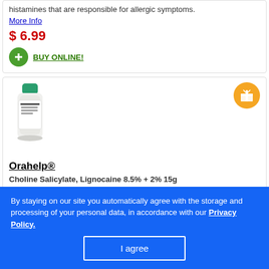histamines that are responsible for allergic symptoms.
More Info
$ 6.99
BUY ONLINE!
[Figure (photo): Orahelp product bottle — small green dropper bottle with label]
Orahelp®
Choline Salicylate, Lignocaine 8.5% + 2% 15g
Orahelp is an antiseptic oral gel. It is an effective remedy for various types of mouth ulcers. The specific indications for the medication are ulcers in mouth, toothaches, and abrasions in the mouth.
More Info
$ 7.99
BUY ONLINE!
By staying on our site you automatically agree with the storage and processing of your personal data, in accordance with our Privacy Policy.
I agree